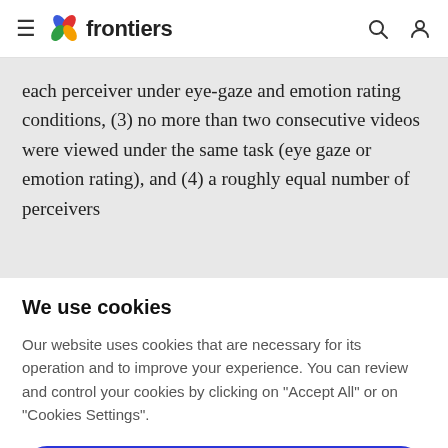frontiers
each perceiver under eye-gaze and emotion rating conditions, (3) no more than two consecutive videos were viewed under the same task (eye gaze or emotion rating), and (4) a roughly equal number of perceivers
We use cookies
Our website uses cookies that are necessary for its operation and to improve your experience. You can review and control your cookies by clicking on "Accept All" or on "Cookies Settings".
Accept Cookies
Cookies Settings